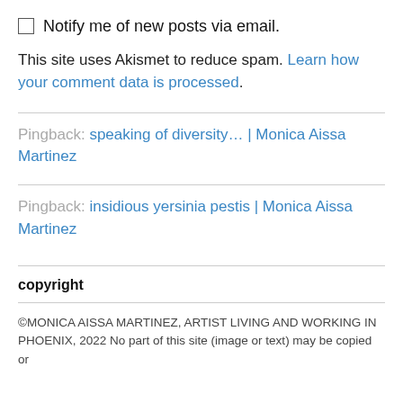Notify me of new posts via email.
This site uses Akismet to reduce spam. Learn how your comment data is processed.
Pingback: speaking of diversity… | Monica Aissa Martinez
Pingback: insidious yersinia pestis | Monica Aissa Martinez
copyright
©MONICA AISSA MARTINEZ, ARTIST LIVING AND WORKING IN PHOENIX, 2022 No part of this site (image or text) may be copied or